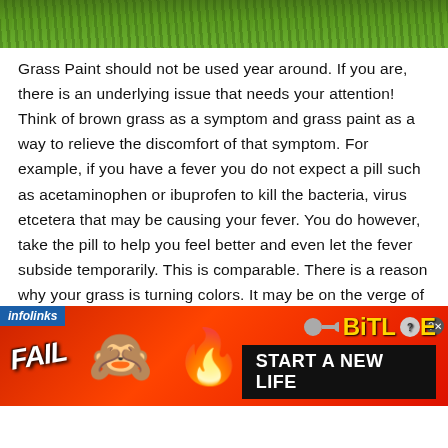[Figure (photo): Green grass photo at the top of the page]
Grass Paint should not be used year around. If you are, there is an underlying issue that needs your attention! Think of brown grass as a symptom and grass paint as a way to relieve the discomfort of that symptom. For example, if you have a fever you do not expect a pill such as acetaminophen or ibuprofen to kill the bacteria, virus etcetera that may be causing your fever. You do however, take the pill to help you feel better and even let the fever subside temporarily. This is comparable. There is a reason why your grass is turning colors. It may be on the verge of dying due to a lack of water, malnutrition, infestation, or disease. Continuing to cover the
[Figure (infographic): BitLife advertisement banner: FAIL text with emoji and flame, BitLife logo, START A NEW LIFE button]